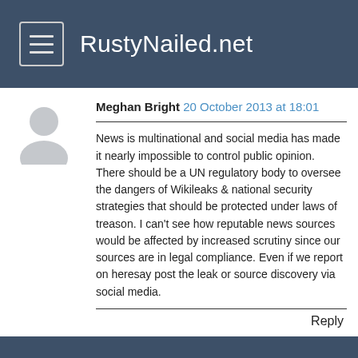RustyNailed.net
Meghan Bright 20 October 2013 at 18:01
News is multinational and social media has made it nearly impossible to control public opinion. There should be a UN regulatory body to oversee the dangers of Wikileaks & national security strategies that should be protected under laws of treason. I can't see how reputable news sources would be affected by increased scrutiny since our sources are in legal compliance. Even if we report on heresay post the leak or source discovery via social media.
Reply
© 2016 RustyNailed.net